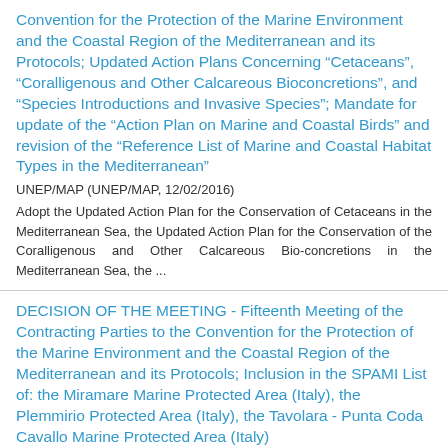Convention for the Protection of the Marine Environment and the Coastal Region of the Mediterranean and its Protocols; Updated Action Plans Concerning “Cetaceans”, “Coralligenous and Other Calcareous Bioconcretions”, and “Species Introductions and Invasive Species”; Mandate for update of the “Action Plan on Marine and Coastal Birds” and revision of the “Reference List of Marine and Coastal Habitat Types in the Mediterranean”
UNEP/MAP (UNEP/MAP, 12/02/2016)
Adopt the Updated Action Plan for the Conservation of Cetaceans in the Mediterranean Sea, the Updated Action Plan for the Conservation of the Coralligenous and Other Calcareous Bio-concretions in the Mediterranean Sea, the ...
DECISION OF THE MEETING - Fifteenth Meeting of the Contracting Parties to the Convention for the Protection of the Marine Environment and the Coastal Region of the Mediterranean and its Protocols; Inclusion in the SPAMI List of: the Miramare Marine Protected Area (Italy), the Plemmirio Protected Area (Italy), the Tavolara - Punta Coda Cavallo Marine Protected Area (Italy)